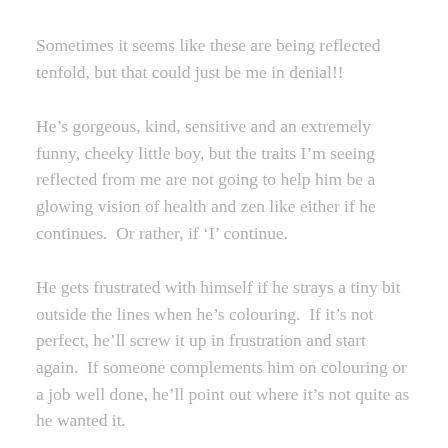Sometimes it seems like these are being reflected tenfold, but that could just be me in denial!!
He’s gorgeous, kind, sensitive and an extremely funny, cheeky little boy, but the traits I’m seeing reflected from me are not going to help him be a glowing vision of health and zen like either if he continues.  Or rather, if ‘I’ continue.
He gets frustrated with himself if he strays a tiny bit outside the lines when he’s colouring.  If it’s not perfect, he’ll screw it up in frustration and start again.  If someone complements him on colouring or a job well done, he’ll point out where it’s not quite as he wanted it.